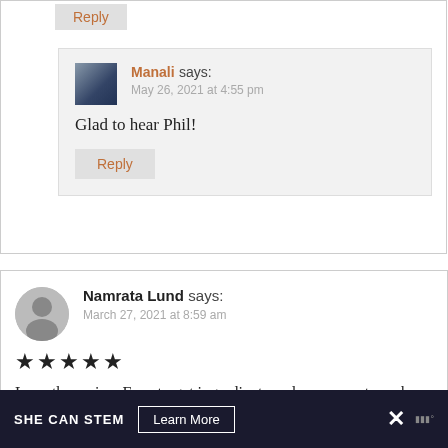Reply
Manali says:
May 26, 2021 at 4:55 pm
Glad to hear Phil!
Reply
Namrata Lund says:
March 27, 2021 at 8:59 am
★★★★★
Love the recipe. Easy to get ingredients and very easy to make. My Turkish friends enjoyed it thoroughly.
SHE CAN STEM  Learn More